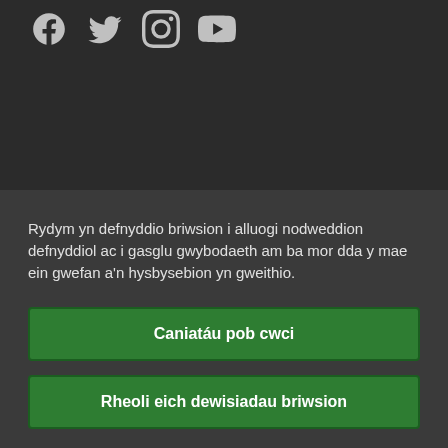[Figure (screenshot): Social media icons: Facebook, Twitter, Instagram, YouTube — white icons on dark background]
Rydym yn defnyddio briwsion i alluogi nodweddion defnyddiol ac i gasglu gwybodaeth am ba mor dda y mae ein gwefan a'n hysbysebion yn gweithio.
Caniatáu pob cwci
Rheoli eich dewisiadau briwsion